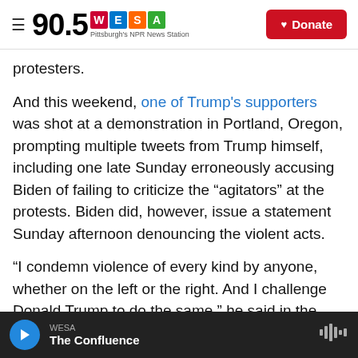90.5 WESA Pittsburgh's NPR News Station | Donate
protesters.
And this weekend, one of Trump's supporters was shot at a demonstration in Portland, Oregon, prompting multiple tweets from Trump himself, including one late Sunday erroneously accusing Biden of failing to criticize the “agitators” at the protests. Biden did, however, issue a statement Sunday afternoon denouncing the violent acts.
"I condemn violence of every kind by anyone, whether on the left or the right. And I challenge Donald Trump to do the same," he said in the
WESA | The Confluence